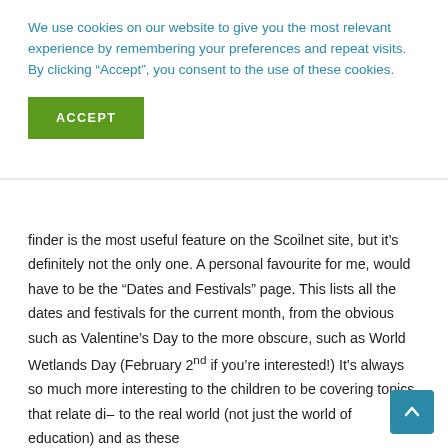We use cookies on our website to give you the most relevant experience by remembering your preferences and repeat visits. By clicking “Accept”, you consent to the use of these cookies.
ACCEPT
finder is the most useful feature on the Scoilnet site, but it’s definitely not the only one. A personal favourite for me, would have to be the “Dates and Festivals” page. This lists all the dates and festivals for the current month, from the obvious such as Valentine’s Day to the more obscure, such as World Wetlands Day (February 2nd if you’re interested!) It’s always so much more interesting to the children to be covering topics that relate directly to the real world (not just the world of education) and as these